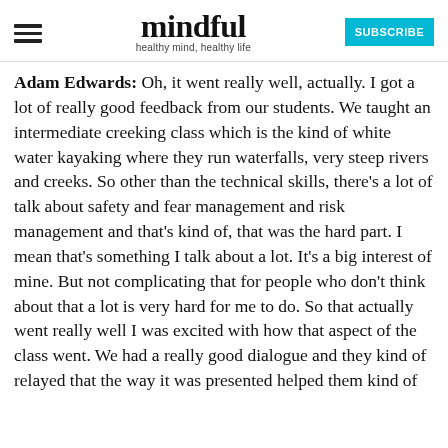mindful — healthy mind, healthy life
Adam Edwards: Oh, it went really well, actually. I got a lot of really good feedback from our students. We taught an intermediate creeking class which is the kind of white water kayaking where they run waterfalls, very steep rivers and creeks. So other than the technical skills, there's a lot of talk about safety and fear management and risk management and that's kind of, that was the hard part. I mean that's something I talk about a lot. It's a big interest of mine. But not complicating that for people who don't think about that a lot is very hard for me to do. So that actually went really well I was excited with how that aspect of the class went. We had a really good dialogue and they kind of relayed that the way it was presented helped them kind of